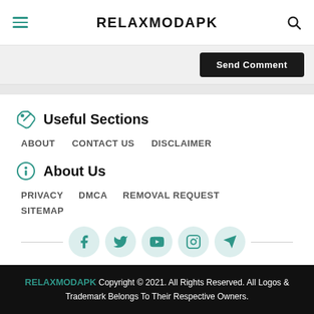RELAXMODAPK
Useful Sections
ABOUT
CONTACT US
DISCLAIMER
About Us
PRIVACY
DMCA
REMOVAL REQUEST
SITEMAP
RELAXMODAPK Copyright © 2021. All Rights Reserved. All Logos & Trademark Belongs To Their Respective Owners.